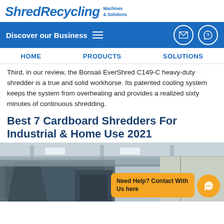ShredRecycling Machines & Solutions
Discover our Business
HOME   PRODUCTS   SOLUTIONS
Third, in our review, the Bonsaii EverShred C149-C heavy-duty shredder is a true and solid workhorse. Its patented cooling system keeps the system from overheating and provides a realized sixty minutes of continuous shredding.
Best 7 Cardboard Shredders For Industrial & Home Use 2021
[Figure (photo): Industrial cardboard shredder machine in a warehouse setting with high ceilings and loading bay doors visible in background. Orange chat widget overlay reading 'Need Help? Contact With Us here'.]